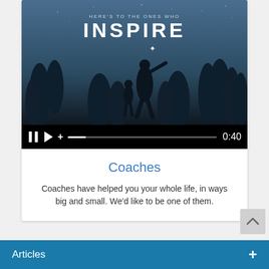[Figure (screenshot): Video player screenshot showing a motivational card with text 'HERE'S TO THE ONES WHO INSPIRE' over a blue night-sky scene with silhouettes of trees and two people, with playback controls showing 0:40 duration]
Coaches
Coaches have helped you your whole life, in ways big and small. We'd like to be one of them.
Articles